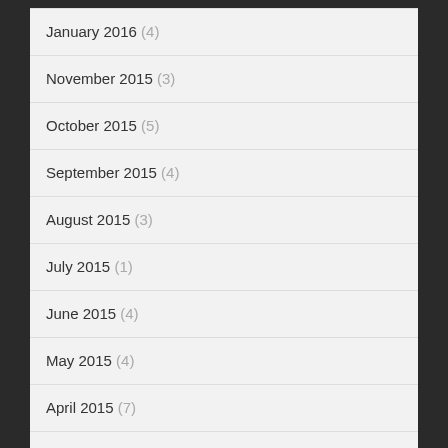January 2016 (4)
November 2015 (3)
October 2015 (5)
September 2015 (4)
August 2015 (3)
July 2015 (1)
June 2015 (4)
May 2015 (4)
April 2015 (7)
March 2015 (4)